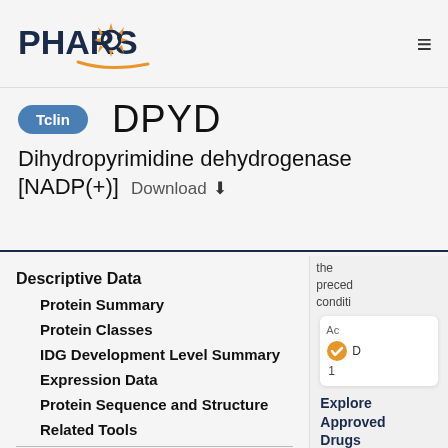PHAROS
DPYD
Tclin
Dihydropyrimidine dehydrogenase [NADP(+)]   Download ⬇
Descriptive Data
Protein Summary
Protein Classes
IDG Development Level Summary
Expression Data
Protein Sequence and Structure
Related Tools
Behavioral Data
Approved Drugs
the preceding conditions
Explore Approved Drugs
D
1
Expr